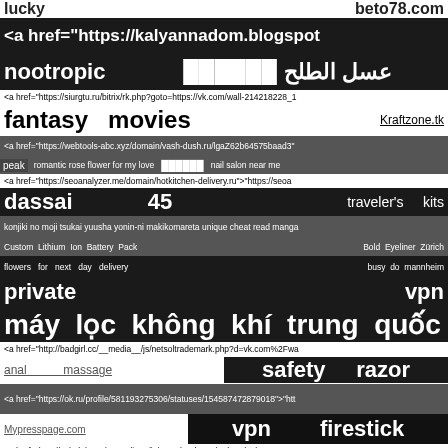lucky   beto78.com
<a href="https://kalyannadom.blogspot
nootropic   ██████   عسل الطلح
<a href="https://siurgtu.ru/bitrix/rk.php?goto=https://vk.com/wall-214218228_1
fantasy   movies   Kraftzone.tk
<a href="https://webtools-abc.xyz/domain/vash-dush.ru/lgaZ62b64575baad3"
peak   romantic rose flower for my love   ██████   nail salon near me
<a href="https://seoanalyzer.me/domain/hotkitchen-delivery.ru">"https://seoa
dassai   45   traveler's   kits
konjiki no moji tsukai yuusha yonin-ni makikomareta unique cheat read manga
Custom Lithium Ion Battery Pack   Bold Eyeliner Zürich
flowers for next day delivery   busy do mannheim
private   vpn
máy lọc không khí trung quốc
<a href="http://badgirl.cc/__media__/js/netsoltrademark.php?d=vk.com%2Fwa
anal   massage   safety razor
<a href="https://ok.ru/profile/581193275306/statuses/154587472879018">"htt
Mypresspage.com   vpn   firestick
<a href="http://colorlab.net/__media__/js/netsoltrademark.php?d=vk.com%2F
lucky carts   چگونه سفری آسوده و کیف باره داشته باشیم؟
nigeria   properties   group
https://geotecniaymecanicasuelosabc.com/mecanic
<a href="https://vk.com/wall-214308716_79">"https://vk.com/wall